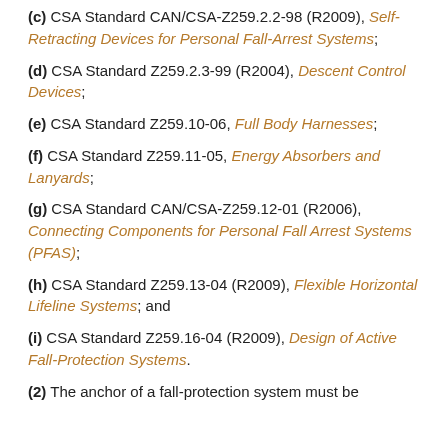(c) CSA Standard CAN/CSA-Z259.2.2-98 (R2009), Self-Retracting Devices for Personal Fall-Arrest Systems;
(d) CSA Standard Z259.2.3-99 (R2004), Descent Control Devices;
(e) CSA Standard Z259.10-06, Full Body Harnesses;
(f) CSA Standard Z259.11-05, Energy Absorbers and Lanyards;
(g) CSA Standard CAN/CSA-Z259.12-01 (R2006), Connecting Components for Personal Fall Arrest Systems (PFAS);
(h) CSA Standard Z259.13-04 (R2009), Flexible Horizontal Lifeline Systems; and
(i) CSA Standard Z259.16-04 (R2009), Design of Active Fall-Protection Systems.
(2) The anchor of a fall-protection system must be